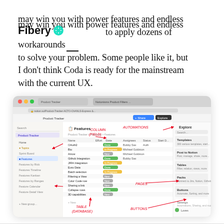may win you with power features and endless opportunities to apply dozens of workarounds to solve your problem. Some people like it, but I don't think Coda is ready for the mainstream with the current UX.
[Figure (screenshot): A screenshot of the Fibery product interface showing a 'Features' database table view with annotated labels in red handwriting: DOCUMENT, COLUMN (FIELD), AUTOMATIONS, PAGE, TABLE (DATABASE), BUTTONS, PAGES. The interface shows a product tracker with a list of features, columns for Effort, State, Assignees, Dates, and a sidebar Explore panel.]